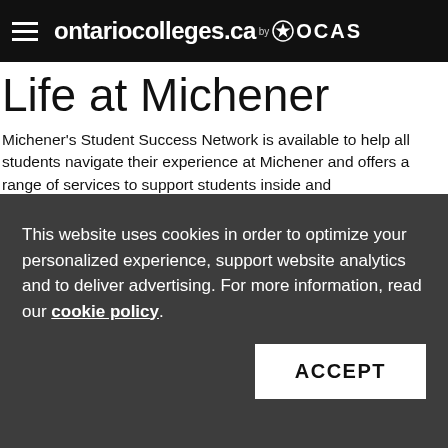ontariocolleges.ca by OCAS
Life at Michener
Michener's Student Success Network is available to help all students navigate their experience at Michener and offers a range of services to support students inside and
This website uses cookies in order to optimize your personalized experience, support website analytics and to deliver advertising. For more information, read our cookie policy.
ACCEPT